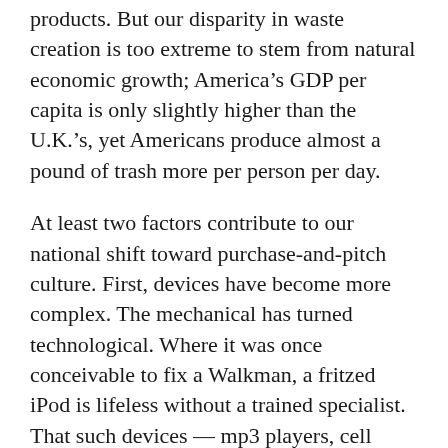products. But our disparity in waste creation is too extreme to stem from natural economic growth; America's GDP per capita is only slightly higher than the U.K.'s, yet Americans produce almost a pound of trash more per person per day.
At least two factors contribute to our national shift toward purchase-and-pitch culture. First, devices have become more complex. The mechanical has turned technological. Where it was once conceivable to fix a Walkman, a fritzed iPod is lifeless without a trained specialist. That such devices — mp3 players, cell phones, laptops — cyclically crash doesn't help matters. All this means mounds of defunct electronics in our landfills, and, on a more esoteric level, a warped definition of newness that makes devices sold prior to 2005 “old school.”
In America, a second factor is at play. Our obelisks of